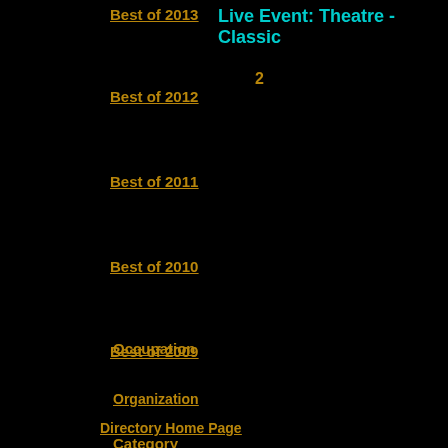Best of 2013
Live Event: Theatre - Classic
2
Best of 2012
Best of 2011
Best of 2010
Best of 2009
Directory Home Page
People
Occupation
Organization
Category
About JWR
FAQ